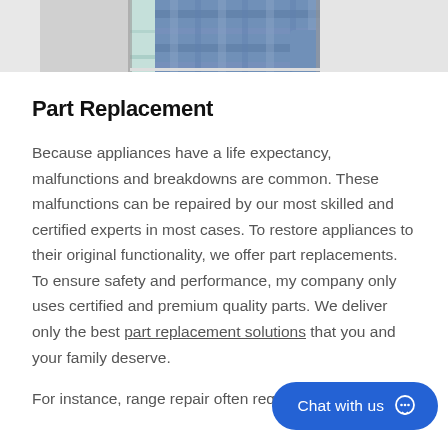[Figure (photo): Partial photo of a person in a plaid shirt looking into a refrigerator, showing only the top portion (person's torso and the open fridge), cropped at the top of the page.]
Part Replacement
Because appliances have a life expectancy, malfunctions and breakdowns are common. These malfunctions can be repaired by our most skilled and certified experts in most cases. To restore appliances to their original functionality, we offer part replacements. To ensure safety and performance, my company only uses certified and premium quality parts. We deliver only the best part replacement solutions that you and your family deserve.
For instance, range repair often requires